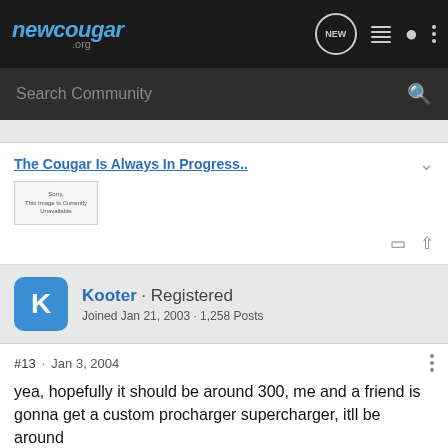newcougar.org
Search Community
The Cougar Is Always In Progress..
Kooter · Registered
Joined Jan 21, 2003 · 1,258 Posts
#13 · Jan 3, 2004
yea, hopefully it should be around 300, me and a friend is gonna get a custom procharger supercharger, itll be around